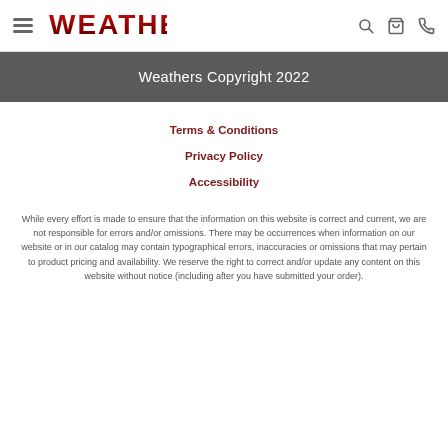WEATHERS [logo] navigation bar with hamburger menu, search, cart, phone icons
Weathers Copyright 2022
Terms & Conditions
Privacy Policy
Accessibility
While every effort is made to ensure that the information on this website is correct and current, we are not responsible for errors and/or omissions. There may be occurrences when information on our website or in our catalog may contain typographical errors, inaccuracies or omissions that may pertain to product pricing and availability. We reserve the right to correct and/or update any content on this website without notice (including after you have submitted your order).